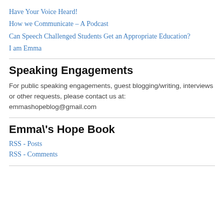Have Your Voice Heard!
How we Communicate – A Podcast
Can Speech Challenged Students Get an Appropriate Education?
I am Emma
Speaking Engagements
For public speaking engagements, guest blogging/writing, interviews or other requests, please contact us at: emmashopeblog@gmail.com
Emma\'s Hope Book
RSS - Posts
RSS - Comments